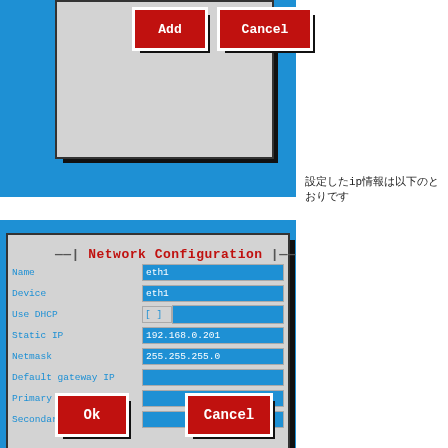[Figure (screenshot): Top portion of a network configuration UI showing Add and Cancel buttons on a gray dialog with blue background]
設定したip情報は以下のとおりです
[Figure (screenshot): Network Configuration dialog with fields: Name=eth1, Device=eth1, Use DHCP=[ ], Static IP=192.168.0.201, Netmask=255.255.255.0, Default gateway IP, Primary DNS Server, Secondary DNS Server, with Ok and Cancel buttons]